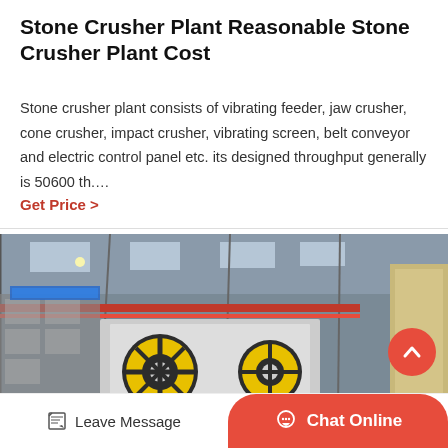Stone Crusher Plant Reasonable Stone Crusher Plant Cost
Stone crusher plant consists of vibrating feeder, jaw crusher, cone crusher, impact crusher, vibrating screen, belt conveyor and electric control panel etc. its designed throughput generally is 50600 th....
Get Price  >
[Figure (photo): Industrial photograph of a stone crusher plant interior showing large machinery with yellow flywheels inside a large factory/workshop building with steel frame roof structure]
Leave Message
Chat Online